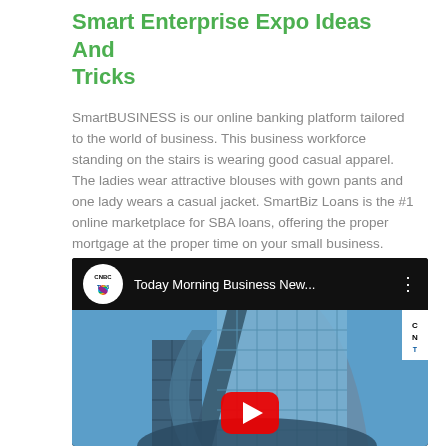Smart Enterprise Expo Ideas And Tricks
SmartBUSINESS is our online banking platform tailored to the world of business. This business workforce standing on the stairs is wearing good casual apparel. The ladies wear attractive blouses with gown pants and one lady wears a casual jacket. SmartBiz Loans is the #1 online marketplace for SBA loans, offering the proper mortgage at the proper time on your small business.
[Figure (screenshot): Embedded YouTube video thumbnail showing CNBC TV18 'Today Morning Business New...' with a building in the background and a YouTube play button overlay.]